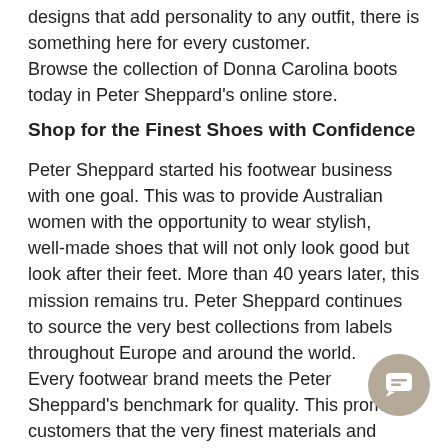designs that add personality to any outfit, there is something here for every customer.
Browse the collection of Donna Carolina boots today in Peter Sheppard's online store.
Shop for the Finest Shoes with Confidence
Peter Sheppard started his footwear business with one goal. This was to provide Australian women with the opportunity to wear stylish, well-made shoes that will not only look good but look after their feet. More than 40 years later, this mission remains tru. Peter Sheppard continues to source the very best collections from labels throughout Europe and around the world.
Every footwear brand meets the Peter Sheppard's benchmark for quality. This promises customers that the very finest materials and crafting processes are used to provide a beautiful wearing experience for each woman.
The online collection features everything from boots, heels and sandals to slippers and even podiatrist-recommended footwear. There are endless styles for those people who require a little extra support yet don't want to sacrifice their comfort.
[Figure (other): Chat/support bubble icon in bottom right corner, circular, beige/tan color with chat icon inside]